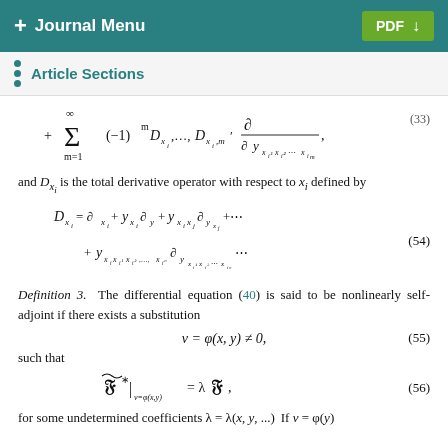+ Journal Menu   PDF
Article Sections
and D_{x_i} is the total derivative operator with respect to x_i defined by
Definition 3. The differential equation (40) is said to be nonlinearly self-adjoint if there exists a substitution
such that
for some undetermined coefficients λ = λ(x, y, ...). If v = φ(y)